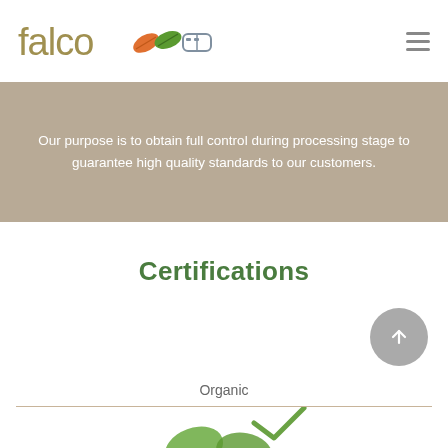[Figure (logo): Falco company logo with text 'falco' in olive/gold color and icons of an orange leaf, green leaf, and a pill/tablet shape]
Our purpose is to obtain full control during processing stage to guarantee high quality standards to our customers.
Certifications
Organic